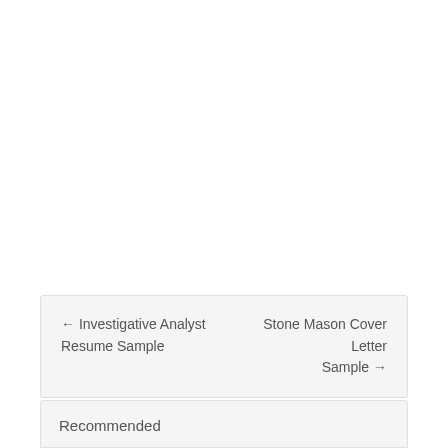← Investigative Analyst Resume Sample    Stone Mason Cover Letter Sample →
Recommended